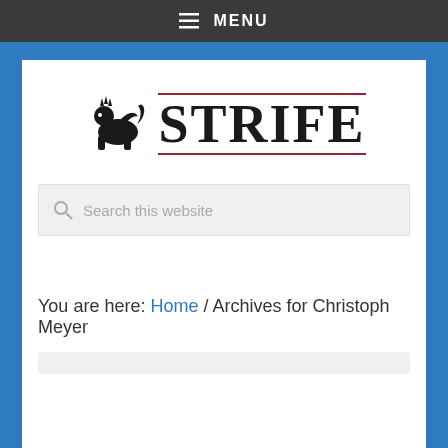≡ MENU
[Figure (logo): STRIFE logo with a lion/griffin heraldic animal silhouette to the left of the text 'STRIFE' in large serif font, with red decorative lines above and below the text]
Search this website
You are here: Home / Archives for Christoph Meyer